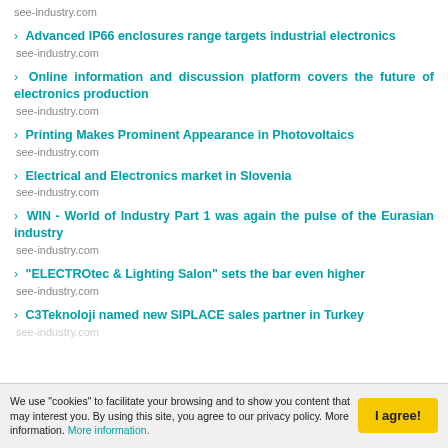see-industry.com
› Advanced IP66 enclosures range targets industrial electronics
see-industry.com
› Online information and discussion platform covers the future of electronics production
see-industry.com
› Printing Makes Prominent Appearance in Photovoltaics
see-industry.com
› Electrical and Electronics market in Slovenia
see-industry.com
› WIN - World of Industry Part 1 was again the pulse of the Eurasian industry
see-industry.com
› "ELECTROtec & Lighting Salon" sets the bar even higher
see-industry.com
› C3Teknoloji named new SIPLACE sales partner in Turkey
see-industry.com
We use "cookies" to facilitate your browsing and to show you content that may interest you. By using this site, you agree to our privacy policy. More information. More information.